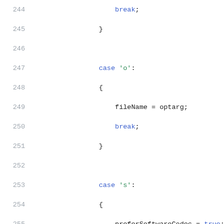Source code listing, lines 244-265, showing switch-case C++ code with case 'o', case 's', and case 'h'/default blocks.